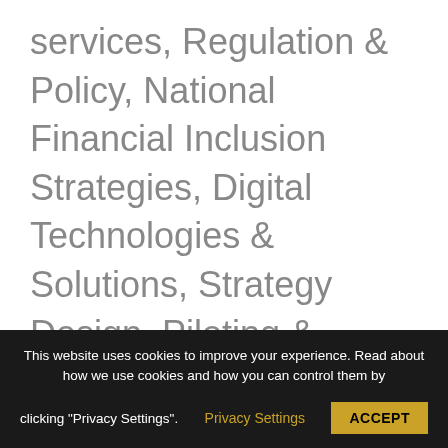services, Regulation & Policy, National Financial Inclusion Strategies, Digital Technologies & Solutions, Strategy Design, Piloting & Implementation, Product Innovation & Value Proposition
This website uses cookies to improve your experience. Read about how we use cookies and how you can control them by clicking "Privacy Settings". Privacy Settings ACCEPT